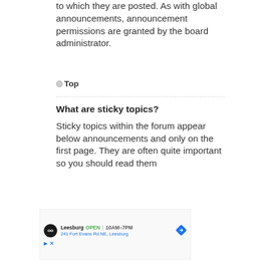to which they are posted. As with global announcements, announcement permissions are granted by the board administrator.
Top
What are sticky topics?
Sticky topics within the forum appear below announcements and only on the first page. They are often quite important so you should read them
[Figure (other): Advertisement for Leesburg store showing logo, OPEN status, hours 10AM-7PM, and address 241 Fort Evans Rd NE, Leesburg]